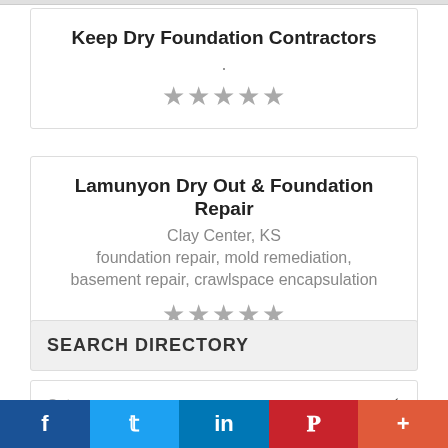Keep Dry Foundation Contractors
★★★★★
Lamunyon Dry Out & Foundation Repair
Clay Center, KS
foundation repair, mold remediation, basement repair, crawlspace encapsulation
★★★★★
SEARCH DIRECTORY
Category